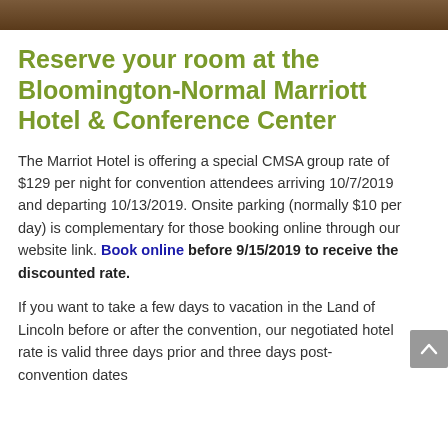[Figure (photo): Decorative photo strip at top of page, appears to show people or a venue scene, cropped to a narrow horizontal band]
Reserve your room at the Bloomington-Normal Marriott Hotel & Conference Center
The Marriot Hotel is offering a special CMSA group rate of $129 per night for convention attendees arriving 10/7/2019 and departing 10/13/2019. Onsite parking (normally $10 per day) is complementary for those booking online through our website link. Book online before 9/15/2019 to receive the discounted rate.
If you want to take a few days to vacation in the Land of Lincoln before or after the convention, our negotiated hotel rate is valid three days prior and three days post-convention dates